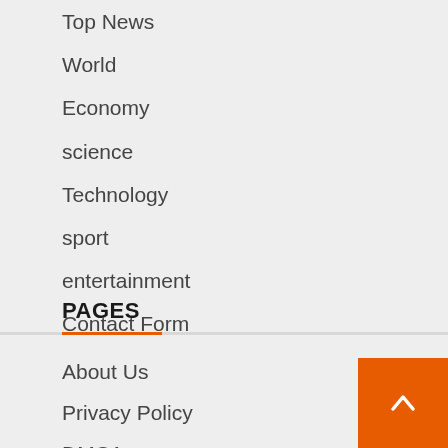Top News
World
Economy
science
Technology
sport
entertainment
Contact Form
PAGES
About Us
Privacy Policy
DMCA
Editorial Policy
Contact Form